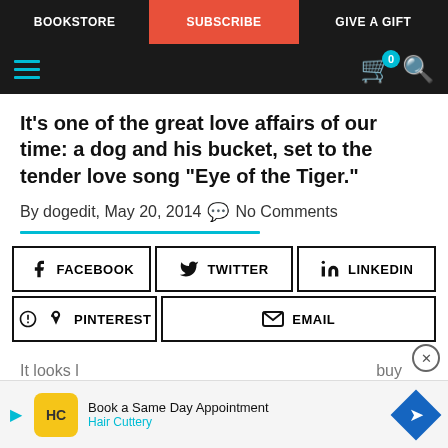BOOKSTORE | SUBSCRIBE | GIVE A GIFT
[Figure (screenshot): Website navigation header with hamburger menu icon, shopping cart with badge showing 0, and search icon on dark background]
It's one of the great love affairs of our time: a dog and his bucket, set to the tender love song "Eye of the Tiger."
By dogedit, May 20, 2014  No Comments
[Figure (infographic): Social share buttons: Facebook, Twitter, LinkedIn, Pinterest, Email]
It looks l… buy
[Figure (infographic): Advertisement bar: Hair Cuttery - Book a Same Day Appointment]